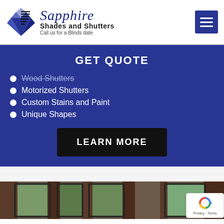[Figure (logo): Sapphire Shades and Shutters logo with diamond geometric shape in blue and black, script brand name, bold subtitle and tagline 'Call us for a Blinds date']
[Figure (screenshot): Blue hamburger menu button with three white horizontal lines]
GET QUOTE
Wood Shutters
Motorized Shutters
Custom Stains and Paint
Unique Shapes
[Figure (other): Black 'LEARN MORE' button]
[Figure (photo): Partial photo of a room interior showing curtains on windows with trees visible outside]